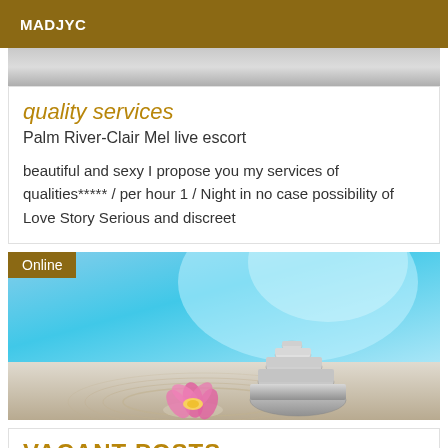MADJYC
[Figure (photo): Partial top image, grey/neutral background visible]
quality services
Palm River-Clair Mel live escort
beautiful and sexy I propose you my services of qualities***** / per hour 1 / Night in no case possibility of Love Story Serious and discreet
[Figure (photo): Zen stones stacked on sand with a pink lotus flower in the foreground and blue sky background. 'Online' badge in top-left corner.]
VACANT POSTS